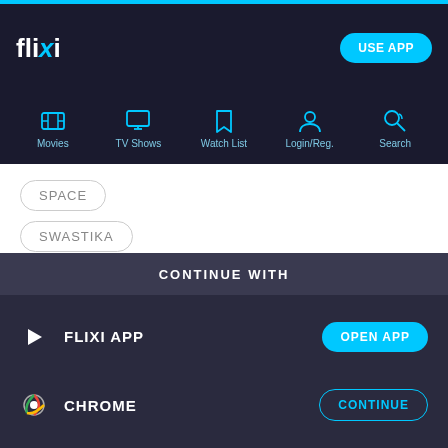flixi
Movies
TV Shows
Watch List
Login/Reg.
Search
SPACE
SWASTIKA
GAS MASK
People Rated This
ALESSANDRO.PRESUTTO
CONTINUE WITH
FLIXI APP
CHROME